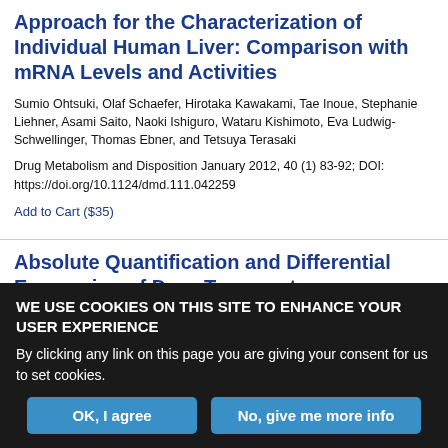Approach for the Characterization of Individual Human Liver: Comparison with mRNA Levels and Activities
Sumio Ohtsuki, Olaf Schaefer, Hirotaka Kawakami, Tae Inoue, Stephanie Liehner, Asami Saito, Naoki Ishiguro, Wataru Kishimoto, Eva Ludwig-Schwellinger, Thomas Ebner, and Tetsuya Terasaki
Drug Metabolism and Disposition January 2012, 40 (1) 83-92; DOI: https://doi.org/10.1124/dmd.111.042259
Add to Cart ($35)
Absolute Quantification and Differential Expression of Drug Transporters, Cytochrome P450
WE USE COOKIES ON THIS SITE TO ENHANCE YOUR USER EXPERIENCE
By clicking any link on this page you are giving your consent for us to set cookies.